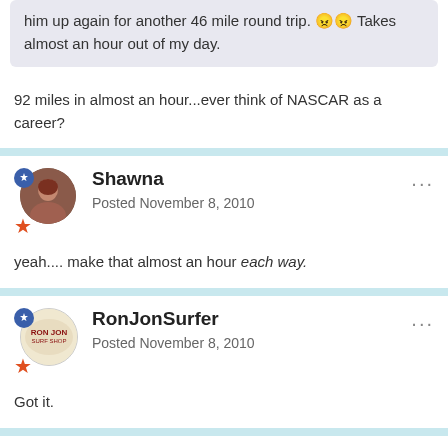him up again for another 46 mile round trip. 😠😠 Takes almost an hour out of my day.
92 miles in almost an hour...ever think of NASCAR as a career?
Shawna
Posted November 8, 2010
yeah.... make that almost an hour each way.
RonJonSurfer
Posted November 8, 2010
Got it.
MindCrime